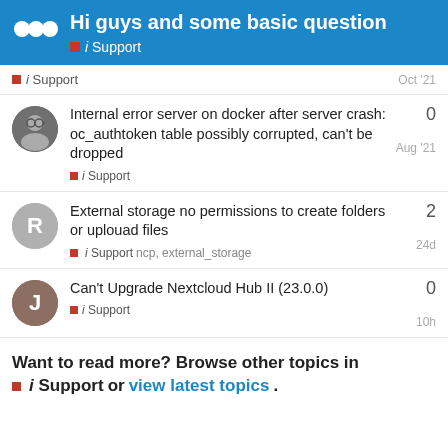Hi guys and some basic question — i Support
i Support   Oct '21
Internal error server on docker after server crash: oc_authtoken table possibly corrupted, can't be dropped   i Support   Aug '21   replies: 0
External storage no permissions to create folders or uplouad files   i Support   ncp, external_storage   24d   replies: 2
Can't Upgrade Nextcloud Hub II (23.0.0)   i Support   10h   replies: 0
Want to read more? Browse other topics in i Support or view latest topics.